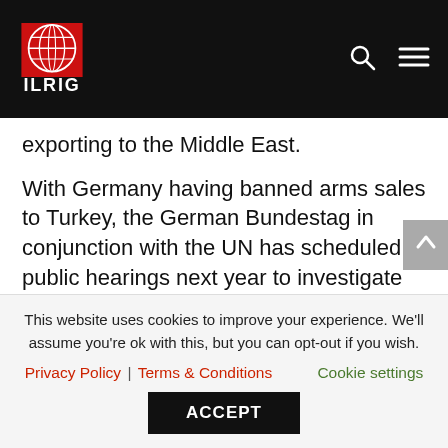ILRIG
exporting to the Middle East.
With Germany having banned arms sales to Turkey, the German Bundestag in conjunction with the UN has scheduled public hearings next year to investigate how German companies such as Rheinmetall deliberately bypass German arms export regulations by locating production in countries such as South Africa where the rule of law is weak.
This website uses cookies to improve your experience. We'll assume you're ok with this, but you can opt-out if you wish.
Privacy Policy | Terms & Conditions   Cookie settings
ACCEPT